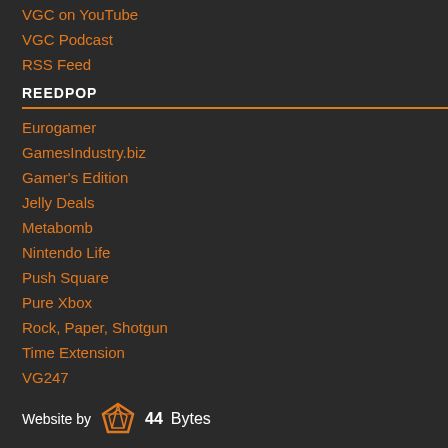VGC on YouTube
VGC Podcast
RSS Feed
REEDPOP
Eurogamer
GamesIndustry.biz
Gamer's Edition
Jelly Deals
Metabomb
Nintendo Life
Push Square
Pure Xbox
Rock, Paper, Shotgun
Time Extension
VG247
Website by 44Bytes